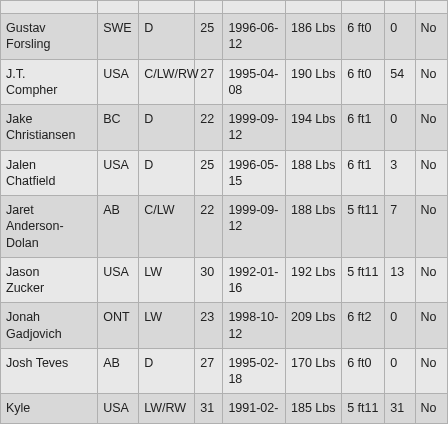| Gustav Forsling | SWE | D | 25 | 1996-06-12 | 186 Lbs | 6 ft0 | 0 | No |
| J.T. Compher | USA | C/LW/RW | 27 | 1995-04-08 | 190 Lbs | 6 ft0 | 54 | No |
| Jake Christiansen | BC | D | 22 | 1999-09-12 | 194 Lbs | 6 ft1 | 0 | No |
| Jalen Chatfield | USA | D | 25 | 1996-05-15 | 188 Lbs | 6 ft1 | 3 | No |
| Jaret Anderson-Dolan | AB | C/LW | 22 | 1999-09-12 | 188 Lbs | 5 ft11 | 7 | No |
| Jason Zucker | USA | LW | 30 | 1992-01-16 | 192 Lbs | 5 ft11 | 13 | No |
| Jonah Gadjovich | ONT | LW | 23 | 1998-10-12 | 209 Lbs | 6 ft2 | 0 | No |
| Josh Teves | AB | D | 27 | 1995-02-18 | 170 Lbs | 6 ft0 | 0 | No |
| Kyle | USA | LW/RW | 31 | 1991-02- | 185 Lbs | 5 ft11 | 31 | No |